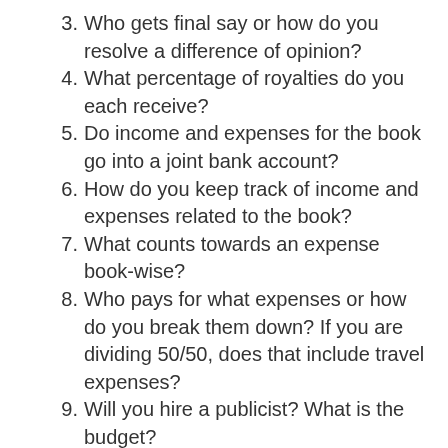3. Who gets final say or how do you resolve a difference of opinion?
4. What percentage of royalties do you each receive?
5. Do income and expenses for the book go into a joint bank account?
6. How do you keep track of income and expenses related to the book?
7. What counts towards an expense book-wise?
8. Who pays for what expenses or how do you break them down? If you are dividing 50/50, does that include travel expenses?
9. Will you hire a publicist? What is the budget?